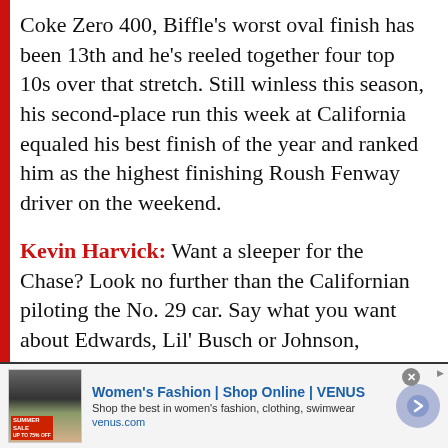Coke Zero 400, Biffle's worst oval finish has been 13th and he's reeled together four top 10s over that stretch. Still winless this season, his second-place run this week at California equaled his best finish of the year and ranked him as the highest finishing Roush Fenway driver on the weekend.
Kevin Harvick: Want a sleeper for the Chase? Look no further than the Californian piloting the No. 29 car. Say what you want about Edwards, Lil' Busch or Johnson, Harvick's last seven races have been nothing short of impressive. Aside from an incident...
[Figure (infographic): Advertisement banner for Women's Fashion | Shop Online | VENUS. Shows a small product image on the left, ad title in blue bold text, subtitle and URL, and a circular arrow button on the right.]